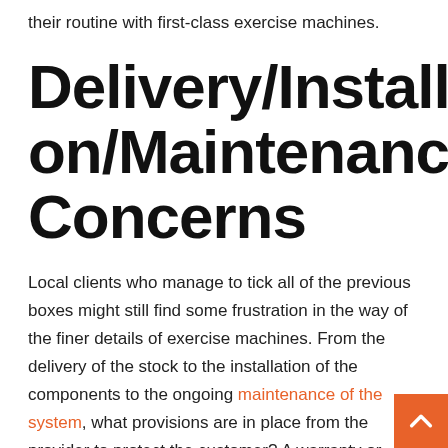their routine with first-class exercise machines.
Delivery/Installation/Maintenance Concerns
Local clients who manage to tick all of the previous boxes might still find some frustration in the way of the finer details of exercise machines. From the delivery of the stock to the installation of the components to the ongoing maintenance of the system, what provisions are in place from the provider to protect the customer? A warranty or insurance policy is essential in this setting because it helps to protect the interests of the customer when things